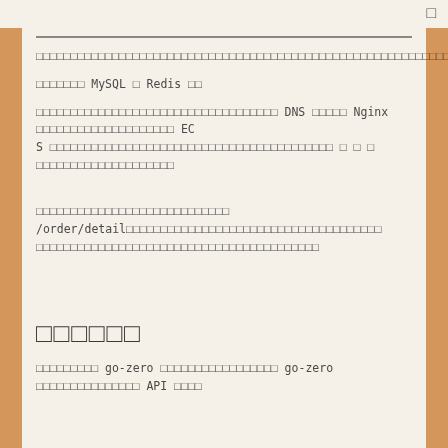□
□□□□□□□□□□□□□□□□□□□□□□□□□□□□□□□□□□□□□□□□□□□□□□□□□□□□□□□□□□□□□□□□□□□□□□□□□□□□□□□□□□□□□□□□□
□□□□□□□ MySQL □ Redis □□
□□□□□□□□□□□□□□□□□□□□□□□□□□□□□□□□□□ DNS □□□□□ Nginx □□□□□□□□□□□□□□□□□□□□ ECS □□□□□□□□□□□□□□□□□□□□□□□□□□□□□□□□□□□□□□□□□ □ □ □ □□□□□□□□□□□□□□□□□□□□
□□□□□□□□□□□□□□□□□□□□□□□□□□□□ /order/detail□□□□□□□□□□□□□□□□□□□□□□□□□□□□□□□□□□□□□□□□□□□□□□□□□□□□□□□□
□□□□□□
□□□□□□□□□ go-zero □□□□□□□□□□□□□□□□□ go-zero □□□□□□□□□□□□□□□ API □□□□